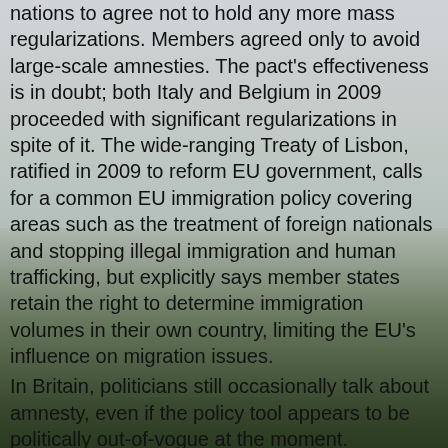nations to agree not to hold any more mass regularizations. Members agreed only to avoid large-scale amnesties. The pact's effectiveness is in doubt; both Italy and Belgium in 2009 proceeded with significant regularizations in spite of it. The wide-ranging Treaty of Lisbon, ratified in 2009 to reform EU government, calls for a common EU immigration policy covering areas such as the treatment of foreign nationals and stopping illegal immigration and human trafficking, but explicitly says member states retain the right to determine immigration volumes in their own country, limiting the EU's influence on migration issues.
In Britain, politicians still occasionally talk about amnesty, even if the policy tool appears to be politically out-of-vogue at the moment.
"In the last election, every politician reported that immigration was almost the No. 1 issue on the doorstep," said Matthew Pollard, executive director of MigrationWatch U.K., an anti-immigration organization in London. "So even if politicians would like to offer an amnesty for various reasons, it probably would not go down well with the public. I don't think it's likely to happen."
In the United States